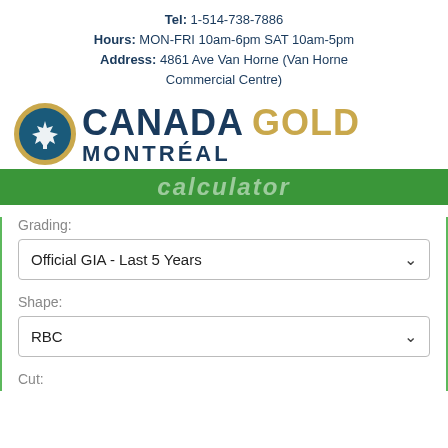Tel: 1-514-738-7886
Hours: MON-FRI 10am-6pm SAT 10am-5pm
Address: 4861 Ave Van Horne (Van Horne Commercial Centre)
[Figure (logo): Canada Gold Montréal logo with maple leaf circle icon, CANADA in dark blue, GOLD in gold color, MONTRÉAL in dark blue below]
[Figure (screenshot): Green banner with partially visible italic white/transparent text]
Grading:
Official GIA - Last 5 Years
Shape:
RBC
Cut: